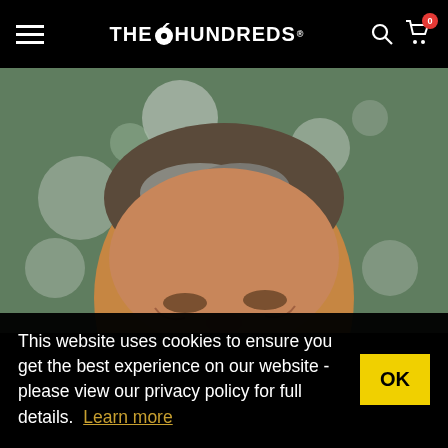THE HUNDREDS
[Figure (photo): Close-up photograph of a middle-aged man with salt-and-pepper hair, smiling, with a blurred green bokeh background with circular lights]
This website uses cookies to ensure you get the best experience on our website - please view our privacy policy for full details. Learn more